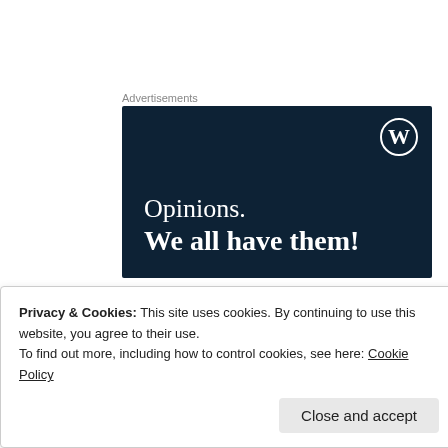Advertisements
[Figure (illustration): WordPress advertisement banner with dark navy background. White WordPress logo (W in circle) in top-right. Text: 'Opinions.' in serif font, then 'We all have them!' in bold serif font.]
Go for art
Whether you buy from for a local artist, frame prints...
Privacy & Cookies: This site uses cookies. By continuing to use this website, you agree to their use.
To find out more, including how to control cookies, see here: Cookie Policy
Close and accept